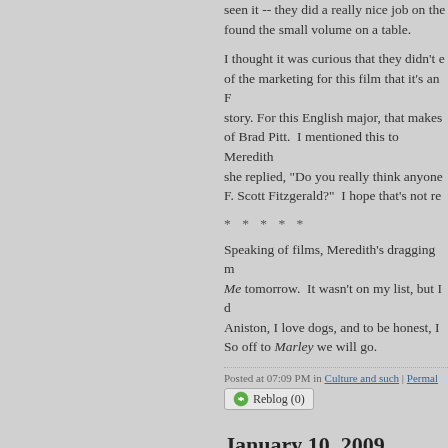seen it -- they did a really nice job on the found the small volume on a table.
I thought it was curious that they didn't e of the marketing for this film that it's an F story. For this English major, that makes of Brad Pitt.  I mentioned this to Meredith she replied, "Do you really think anyone F. Scott Fitzgerald?"  I hope that's not re
* * * * *
Speaking of films, Meredith's dragging m Me tomorrow.  It wasn't on my list, but I Aniston, I love dogs, and to be honest, I So off to Marley we will go.
Posted at 07:09 PM in Culture and such | Permal
Reblog (0)
January 10, 2009
Light the candles.
A happy birthday shout-out to my friend S